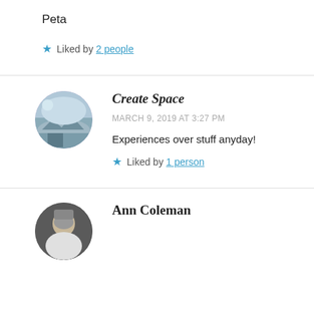Peta
Liked by 2 people
Create Space
MARCH 9, 2019 AT 3:27 PM
Experiences over stuff anyday!
Liked by 1 person
Ann Coleman